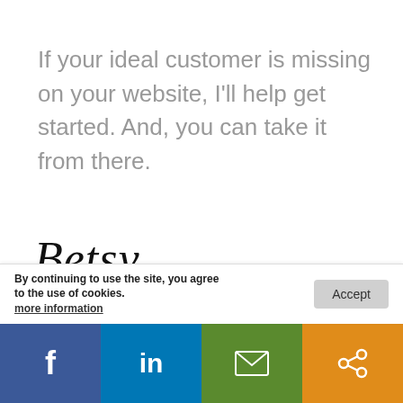If your ideal customer is missing on your website, I'll help get started. And, you can take it from there.
[Figure (illustration): Cursive handwritten signature reading 'Betsy']
Betsy Kent
I've guided hundreds of clients through my signature process and formula and as a result, they've helped bring in new
By continuing to use the site, you agree to the use of cookies.
more information   Accept
[Figure (infographic): Social sharing bar with Facebook, LinkedIn, email, and share buttons]